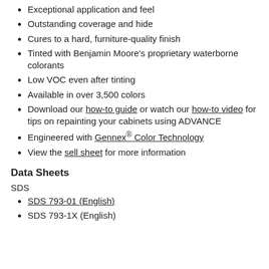Exceptional application and feel
Outstanding coverage and hide
Cures to a hard, furniture-quality finish
Tinted with Benjamin Moore's proprietary waterborne colorants
Low VOC even after tinting
Available in over 3,500 colors
Download our how-to guide or watch our how-to video for tips on repainting your cabinets using ADVANCE
Engineered with Gennex® Color Technology
View the sell sheet for more information
Data Sheets
SDS
SDS 793-01 (English)
SDS 793-1X (English)